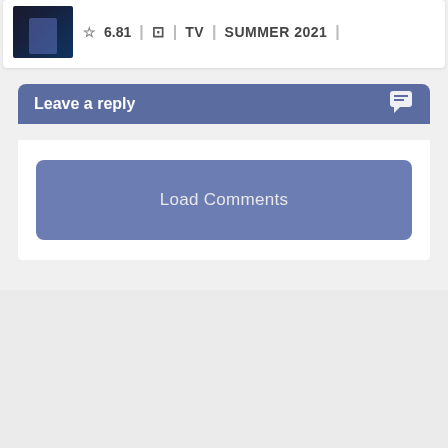[Figure (screenshot): Thumbnail image of anime/TV show artwork with dark blue tones]
6.81   TV   SUMMER 2021
Leave a reply
Load Comments